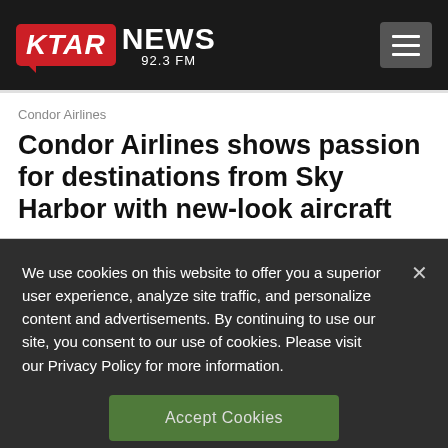KTAR NEWS 92.3 FM
Condor Airlines
Condor Airlines shows passion for destinations from Sky Harbor with new-look aircraft
We use cookies on this website to offer you a superior user experience, analyze site traffic, and personalize content and advertisements. By continuing to use our site, you consent to our use of cookies. Please visit our Privacy Policy for more information.